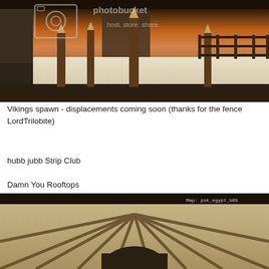[Figure (screenshot): Screenshot of a video game scene showing a Vikings spawn area with wooden stakes/posts in the foreground, a snowy ground, dark stone walls, and a wooden fence in the background. A Photobucket watermark overlay reads 'host. store. share.' The sky shows a sunset/dusk atmosphere.]
Vikings spawn - displacements coming soon (thanks for the fence LordTrilobite)
hubb jubb Strip Club
Damn You Rooftops
[Figure (screenshot): Screenshot of a video game scene showing a rooftop/ceiling interior view with radiating wooden beams or struts spread out from a central point, stone/brick-like tan walls, and a dark archway or tunnel entrance at the bottom. A HUD overlay in the top-right corner reads 'Map: psk_egypt_b05'.]